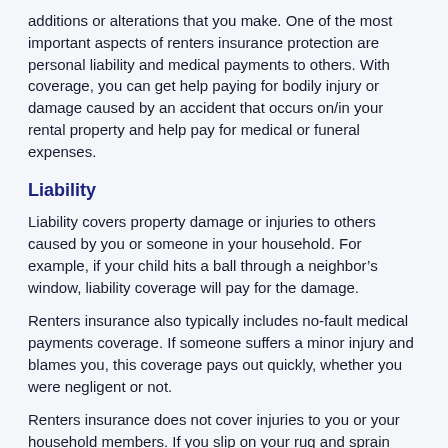additions or alterations that you make. One of the most important aspects of renters insurance protection are personal liability and medical payments to others. With coverage, you can get help paying for bodily injury or damage caused by an accident that occurs on/in your rental property and help pay for medical or funeral expenses.
Liability
Liability covers property damage or injuries to others caused by you or someone in your household. For example, if your child hits a ball through a neighbor’s window, liability coverage will pay for the damage.
Renters insurance also typically includes no-fault medical payments coverage. If someone suffers a minor injury and blames you, this coverage pays out quickly, whether you were negligent or not.
Renters insurance does not cover injuries to you or your household members. If you slip on your rug and sprain your ankle, your medical expenses are generally covered by your health insurance,not renters insurance.